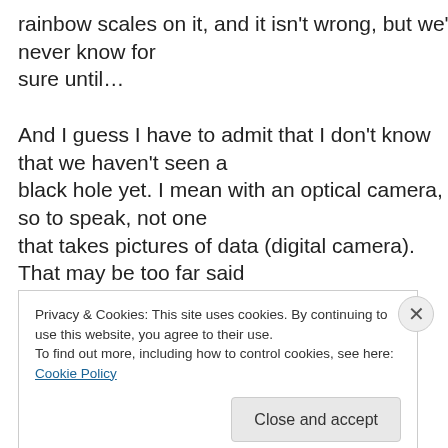rainbow scales on it, and it isn't wrong, but we'll never know for sure until…
And I guess I have to admit that I don't know that we haven't seen a black hole yet. I mean with an optical camera, so to speak, not one that takes pictures of data (digital camera). That may be too far said in that direction since every photograph is a picture of
Privacy & Cookies: This site uses cookies. By continuing to use this website, you agree to their use.
To find out more, including how to control cookies, see here: Cookie Policy
Close and accept